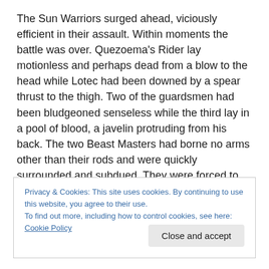The Sun Warriors surged ahead, viciously efficient in their assault. Within moments the battle was over. Quezoema's Rider lay motionless and perhaps dead from a blow to the head while Lotec had been downed by a spear thrust to the thigh. Two of the guardsmen had been bludgeoned senseless while the third lay in a pool of blood, a javelin protruding from his back. The two Beast Masters had borne no arms other than their rods and were quickly surrounded and subdued. They were forced to kneel beside their stricken Riders and face the approach of the
Privacy & Cookies: This site uses cookies. By continuing to use this website, you agree to their use.
To find out more, including how to control cookies, see here: Cookie Policy
Close and accept